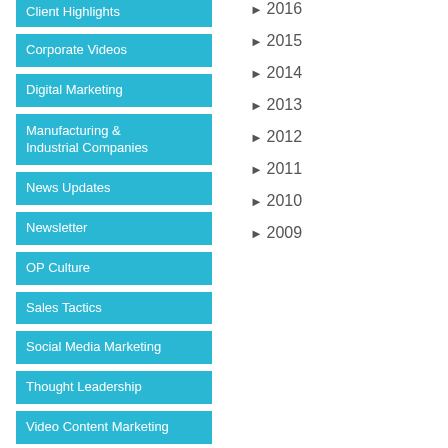Client Highlights
Corporate Videos
Digital Marketing
Manufacturing & Industrial Companies
News Updates
Newsletter
OP Culture
Sales Tactics
Social Media Marketing
Thought Leadership
Video Content Marketing
Video Services
► 2016
► 2015
► 2014
► 2013
► 2012
► 2011
► 2010
► 2009